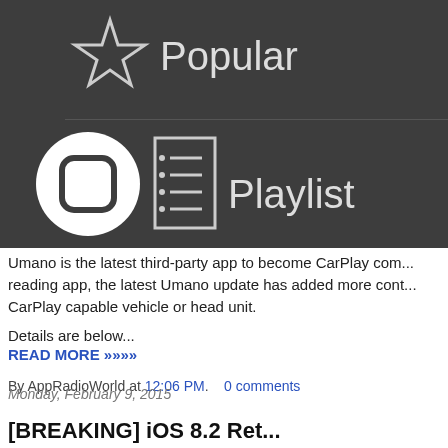[Figure (screenshot): Dark gray UI panel showing app menu items: star icon with 'Popular' label on top row, circle/logo icon on left and playlist icon with 'Playlist' label on bottom row]
Umano is the latest third-party app to become CarPlay com... reading app, the latest Umano update has added more cont... CarPlay capable vehicle or head unit.
Details are below...
READ MORE >>>>
By AppRadioWorld at 12:06 PM.    0 comments
Monday, February 9, 2015
[BREAKING] iOS 8.2 Ret...